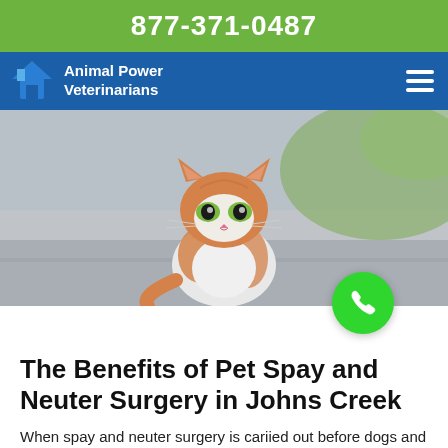877-371-0487
Animal Power Veterinarians
[Figure (photo): Orange and white tabby cat sitting outdoors on a paved surface, looking at the camera. Blurred green background.]
The Benefits of Pet Spay and Neuter Surgery in Johns Creek
When spay and neuter surgery is cariied out before dogs and cats are sexually mature, interactive and medical benefits are seen. Pet Will Enj...